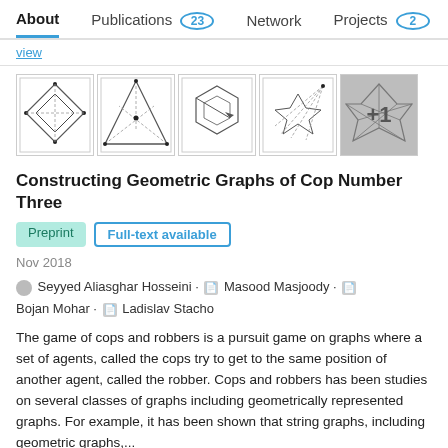About   Publications 23   Network   Projects 2
view
[Figure (illustration): Five thumbnail images of geometric graphs showing polygons, lines, and intersections. The last thumbnail has a gray overlay with '+1'.]
Constructing Geometric Graphs of Cop Number Three
Preprint   Full-text available
Nov 2018
Seyyed Aliasghar Hosseini · Masood Masjoody · Bojan Mohar · Ladislav Stacho
The game of cops and robbers is a pursuit game on graphs where a set of agents, called the cops try to get to the same position of another agent, called the robber. Cops and robbers has been studies on several classes of graphs including geometrically represented graphs. For example, it has been shown that string graphs, including geometric graphs,...
View